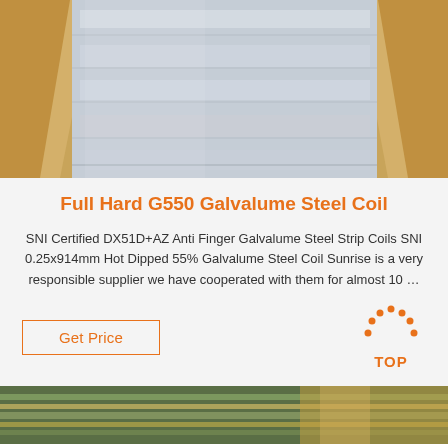[Figure (photo): Close-up photo of galvalume steel coil sheets, metallic silver surface, with brown cardboard/kraft paper packaging visible on the sides]
Full Hard G550 Galvalume Steel Coil
SNI Certified DX51D+AZ Anti Finger Galvalume Steel Strip Coils SNI 0.25x914mm Hot Dipped 55% Galvalume Steel Coil Sunrise is a very responsible supplier we have cooperated with them for almost 10 …
Get Price
[Figure (logo): Orange dotted arc/triangle logo with text TOP beneath it]
[Figure (photo): Partial photo at bottom of page showing stacked metal sheets with green packaging material]